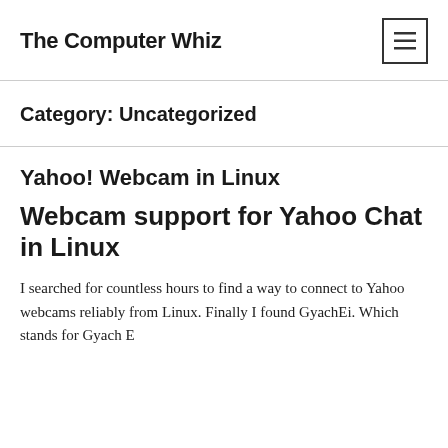The Computer Whiz
Category: Uncategorized
Yahoo! Webcam in Linux
Webcam support for Yahoo Chat in Linux
I searched for countless hours to find a way to connect to Yahoo webcams reliably from Linux. Finally I found GyachEi. Which stands for Gyach Enhanced. I am glad Gyach automatically accepted